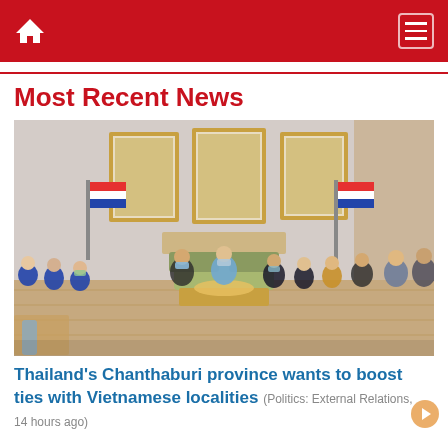Home | Menu
Most Recent News
[Figure (photo): Meeting room with officials seated in a circle. Thai flags on both sides. Three portrait paintings on wall. People wearing face masks during an official diplomatic meeting.]
Thailand's Chanthaburi province wants to boost ties with Vietnamese localities (Politics: External Relations, 14 hours ago)